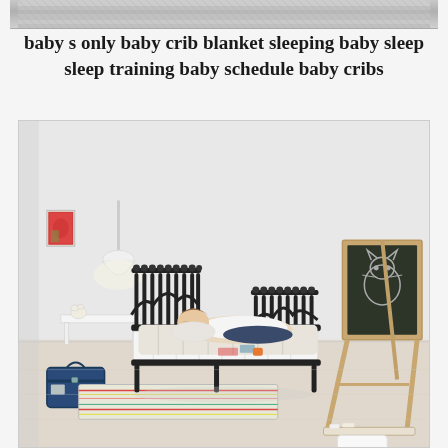[Figure (photo): Partial top strip of a photo showing what appears to be bedding/fabric]
baby s only baby crib blanket sleeping baby sleep sleep training baby schedule baby cribs
[Figure (photo): A child lying on a black metal extendable bed frame in a light-colored room. There is a white side table with a lamp, a blue suitcase on the floor, a colorful rug, a small toy animal, and a wooden chalkboard easel on the right side with a drawing on it. The room has white walls and light wood flooring.]